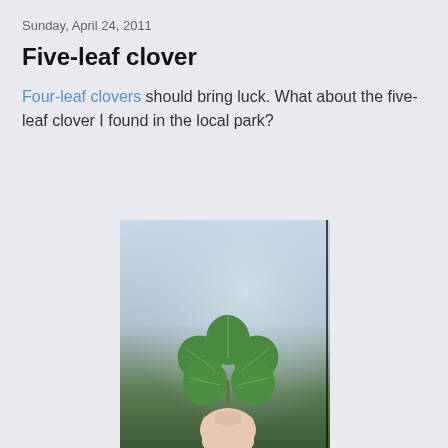Sunday, April 24, 2011
Five-leaf clover
Four-leaf clovers should bring luck. What about the five-leaf clover I found in the local park?
[Figure (photo): A hand holding a five-leaf clover against a blurred blue-grey and green background]